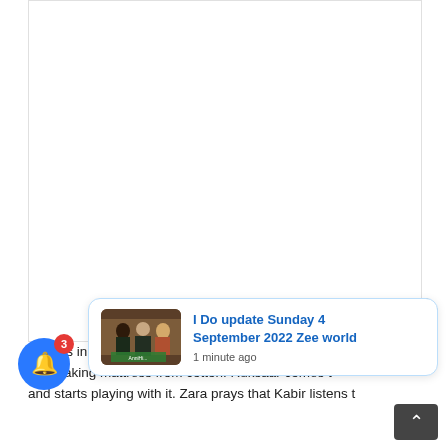[Figure (other): Large white/blank advertisement or image area at the top of the page]
Kabir is in offic... see that Kabir... a is making mattress from cotton. Ruksaar comes t... and starts playing with it. Zara prays that Kabir listens t...
[Figure (other): Toast notification card: thumbnail image of TV show characters with text 'I Do update Sunday 4 September 2022 Zee world' and timestamp '1 minute ago']
[Figure (other): Blue circular notification bell button with red badge showing count 3]
[Figure (other): Black X close button circle]
[Figure (other): Dark scroll-to-top arrow button at bottom right]